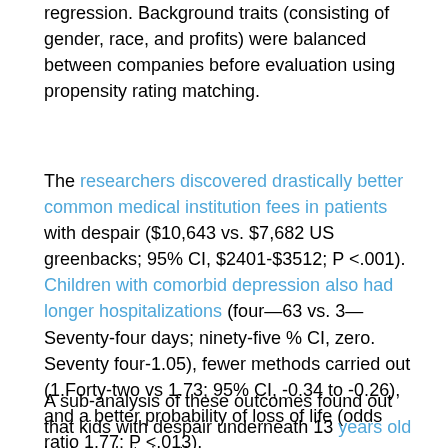regression. Background traits (consisting of gender, race, and profits) were balanced between companies before evaluation using propensity rating matching.
The researchers discovered drastically better common medical institution fees in patients with despair ($10,643 vs. $7,682 US greenbacks; 95% CI, $2401-$3512; P <.001). Children with comorbid depression also had longer hospitalizations (four—63 vs. 3—Seventy-four days; ninety-five % CI, zero. Seventy four-1.05), fewer methods carried out (1.Forty-two vs 1.73; 95% CI, -0.34 to -0.26), and a better probability of loss of life (odds ratio 1.77; P <.013).
A sub-analysis of these outcomes found out that kids with despair underneath 13 years old had nearly twice the same predisposition as patients with out a despair in that